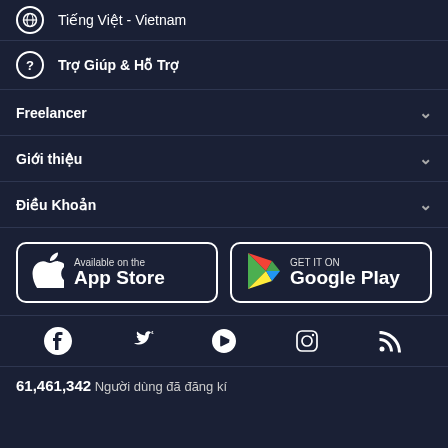Tiếng Việt - Vietnam
Trợ Giúp & Hỗ Trợ
Freelancer
Giới thiệu
Điều Khoản
[Figure (logo): App Store and Google Play store buttons]
[Figure (infographic): Social media icons: Facebook, Twitter, YouTube, Instagram, RSS]
61,461,342 Người dùng đã đăng kí